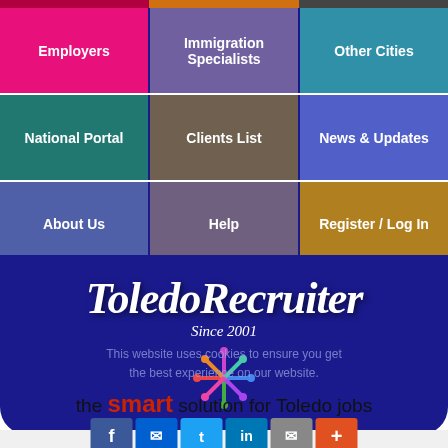[Figure (screenshot): Navigation menu grid with 9 colored tiles: Employers (pink), Immigration Specialists (purple), Other Cities (teal), National Portal (teal), Clients List (brown), News & Updates (blue-purple), About Us (blue), Help (muted purple), Register/Log In (gold)]
ToledoRecruiter
Since 2001
This website uses cookies to ensure you get the best experience on our website.
the smart solution for Toledo jobs
[Figure (illustration): Social share buttons row: Facebook, Messenger, Twitter, LinkedIn, Email, Plus]
Got it!